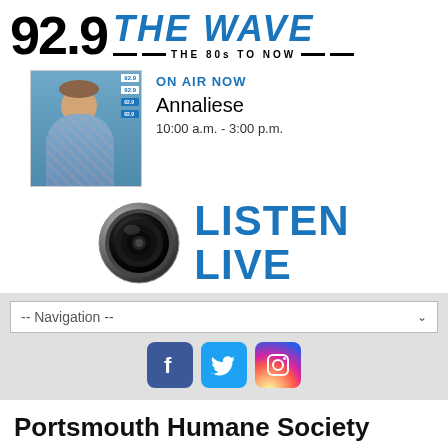[Figure (logo): 92.9 The Wave radio station logo — large '92.9' in black and 'THE WAVE' in bold blue italic letters with '= THE 80s TO NOW =' tagline]
[Figure (photo): Radio host Annaliese in the studio, On Air Now, 10:00 a.m. - 3:00 p.m.]
[Figure (infographic): Listen Live button with speaker/microphone icon and large blue LISTEN LIVE text]
[Figure (infographic): Navigation dropdown bar and social media icons (Facebook, Twitter, Instagram)]
Portsmouth Humane Society Shelter at Full Capacity, Requests Community Support